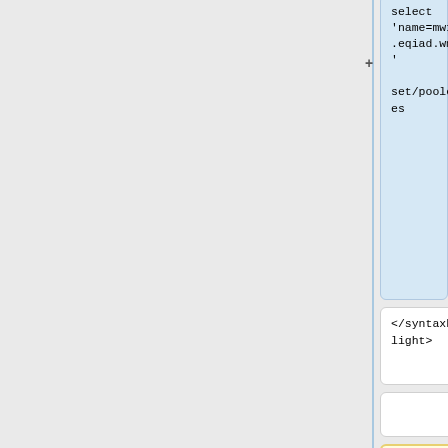select 'name=mw1312.eqiad.wmnet'
set/pooled=yes
</syntaxhighlight>
</syntaxhighlight>
== [[aqs]] ==
Example to restart all mediawiki api server in codfw:
<syntaxhighlight lang="bash">
sudo cookbook